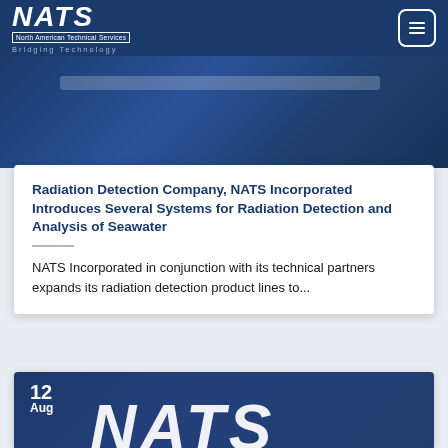NATS — North American Technical Services — Bridging Technology
[Figure (screenshot): Dark blue banner/hero image area with a search bar overlay, showing a building in the background]
Radiation Detection Company, NATS Incorporated Introduces Several Systems for Radiation Detection and Analysis of Seawater
NATS Incorporated in conjunction with its technical partners expands its radiation detection product lines to...
[Figure (screenshot): Second article card with dark blue background showing date '12 Aug' and large NATS logo text]